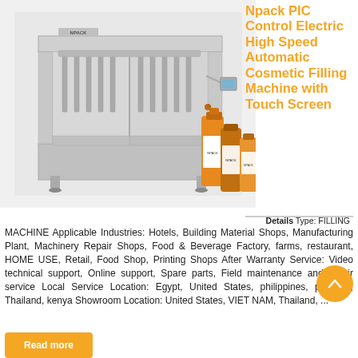[Figure (photo): Industrial automatic cosmetic filling machine (Npack brand) with multiple filling heads, stainless steel frame, and touch screen control panel. Three orange/amber bottles shown to the right of the machine.]
Npack PIC Control Electric High Speed Automatic Cosmetic Filling Machine with Touch Screen
Details Type: FILLING MACHINE Applicable Industries: Hotels, Building Material Shops, Manufacturing Plant, Machinery Repair Shops, Food & Beverage Factory, farms, restaurant, HOME USE, Retail, Food Shop, Printing Shops After Warranty Service: Video technical support, Online support, Spare parts, Field maintenance and repair service Local Service Location: Egypt, United States, philippines, pakistan, Thailand, kenya Showroom Location: United States, VIET NAM, Thailand, ...